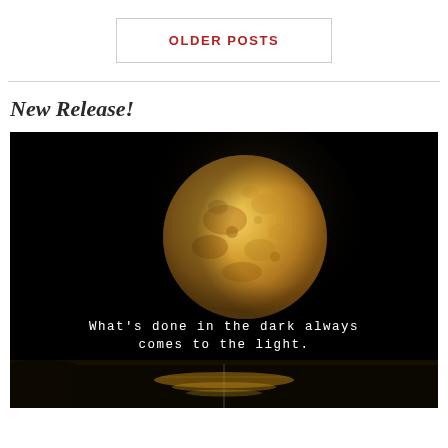OLDER POSTS
New Release!
[Figure (photo): A large golden full moon against a black night sky, with a water reflection below and the text 'What's done in the dark always comes to the light.' overlaid in white monospace font.]